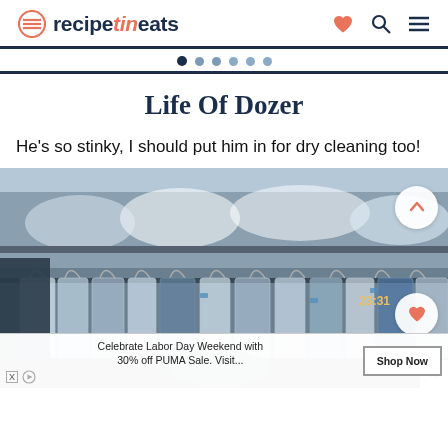recipetineats
Life Of Dozer
He's so stinky, I should put him in for dry cleaning too!
[Figure (photo): Photo of a dry cleaning shop interior showing racks of clothes in plastic wrap coverings, with a navigation up button and heart button overlaid on the right side, a timestamp showing 23:31, and an advertisement banner at the bottom for a PUMA Labor Day 30% off sale with a Shop Now button.]